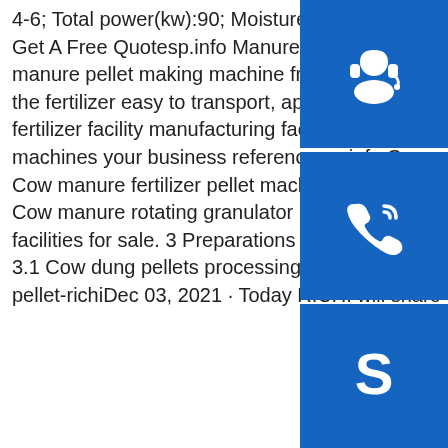4-6; Total power(kw):90; Moisture of feeding material:20%-40%; Dimensions:4900×2550×1800; Get A Free Quotesp.info Manure composting equipment for sale - Compost Turner Hot sale manure pellet making machine from Shunxin Turning powder manure into pellet shapes makes the fertilizer easy to transport, applicate and reduce influences on the environment. In ShunXin fertilizer facility manufacturing factory, there are complete range of manure pellet making machines your business reference.sp.info Cow manure fertilizer pellet machine High quality 1.1 Cow manure fertilizer pellet machine for sale. 2 Cow manure fertilizer pellet machine for sale. 2.1 Cow manure rotating granulator machines for sale. 2.2 Cow manure disc pan granulation facilities for sale. 3 Preparations of making organic fertiliser from cow dung before granulation. 3.1 Cow dung pellets processing machine for sale.sp.info 7.5T/H Organic Fertilizer Production - pellet-richiDec 03, 2021 · Today RICHI will share with you an organic
[Figure (illustration): Blue square button with white headset/customer support icon]
[Figure (illustration): Blue square button with white phone/call icon]
[Figure (illustration): Blue square button with white Skype logo icon]